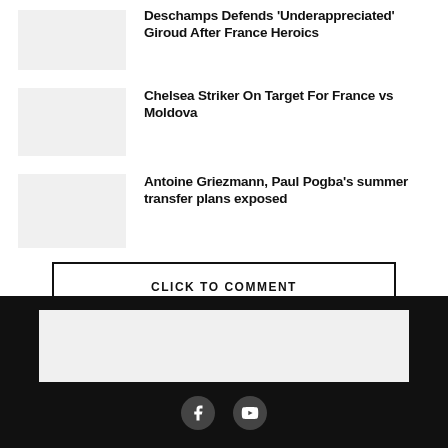Deschamps Defends 'Underappreciated' Giroud After France Heroics
Chelsea Striker On Target For France vs Moldova
Antoine Griezmann, Paul Pogba's summer transfer plans exposed
CLICK TO COMMENT
[Figure (other): Gray placeholder box in dark footer]
Social media icons: Facebook, YouTube